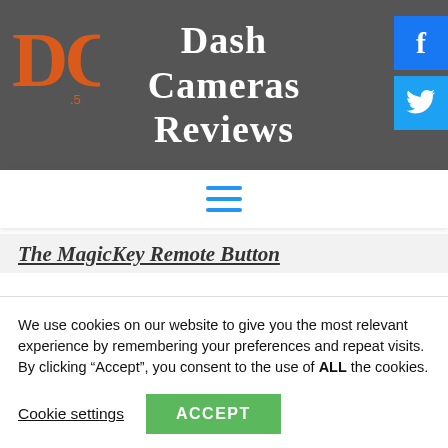[Figure (logo): DC logo in orange/red textured letters on dark background]
Dash Cameras Reviews
[Figure (logo): Facebook icon - blue square with white f]
[Figure (logo): Twitter icon - blue square with white bird/t]
[Figure (other): Hamburger menu icon - three horizontal blue lines]
The MagicKey Remote Button
There is another feature worth
We use cookies on our website to give you the most relevant experience by remembering your preferences and repeat visits. By clicking “Accept”, you consent to the use of ALL the cookies.
Cookie settings
ACCEPT